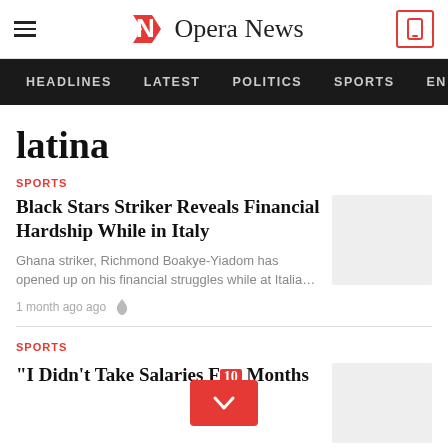Opera News
HEADLINES   LATEST   POLITICS   SPORTS   EN
latina
SPORTS
Black Stars Striker Reveals Financial Hardship While in Italy
Ghana striker, Richmond Boakye-Yiadom has opened up on his financial struggles while at Italia…
1 month ago ago
SPORTS
"I Didn't Take Salaries F... 10 Months